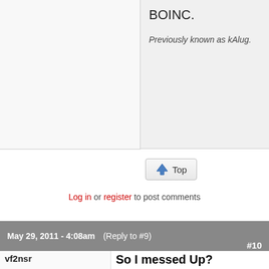BOINC.
Previously known as kAlug.
Top
Log in or register to post comments
May 29, 2011 - 4:08am (Reply to #9) #10
vf2nsr
Offline
Last seen: 5 years 10 months ago
Joined: 2010-02-13 17:10
So I messed Up? Fire me for it, keep forgetting this forum